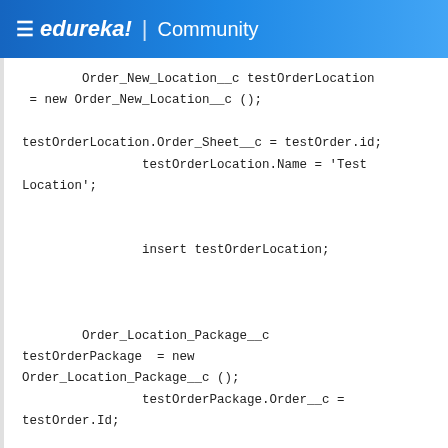≡ edureka! | Community
Order_New_Location__c testOrderLocation = new Order_New_Location__c ();

testOrderLocation.Order_Sheet__c = testOrder.id;
                testOrderLocation.Name = 'Test Location';


                insert testOrderLocation;



        Order_Location_Package__c testOrderPackage  = new Order_Location_Package__c ();
                testOrderPackage.Order__c = testOrder.Id;

testOrderPackage.New_Location_Name__c = testOrderLocation.Id;
                testOrderPackage.Package__c = testPackage.Id;